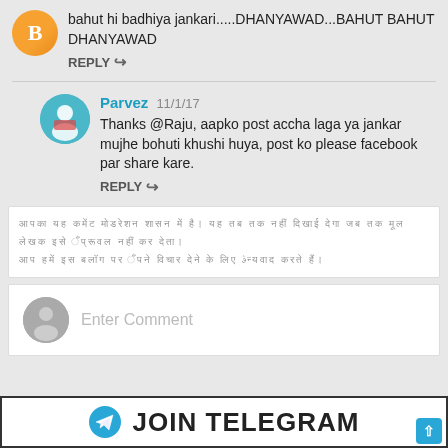bahut hi badhiya jankari.....DHANYAWAD...BAHUT BAHUT DHANYAWAD
REPLY
Parvez 11/1/17
Thanks @Raju, aapko post accha laga ya jankar mujhe bohuti khushi huya, post ko please facebook par share kare.
REPLY
[Hindi text - blurred/illegible]
Enter Comment
JOIN TELEGRAM